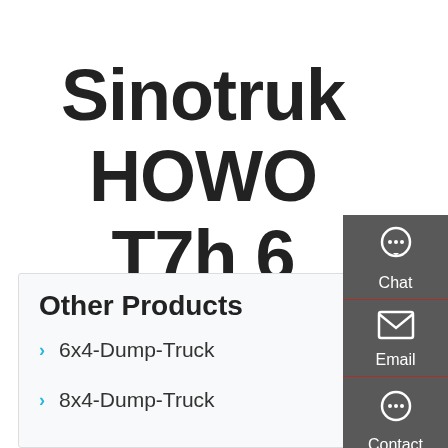Sinotruk HOWO T7h 6 4 336HP Tractor Truck
Other Products
6x4-Dump-Truck
8x4-Dump-Truck